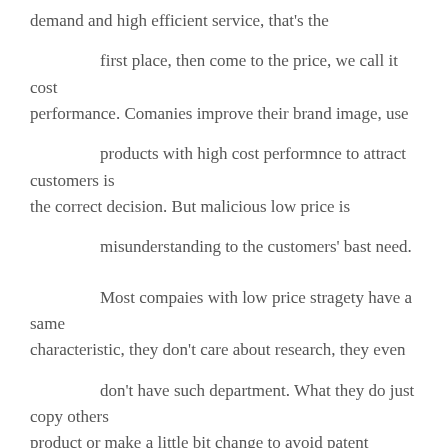demand and high efficient service, that's the first place, then come to the price, we call it cost performance. Comanies improve their brand image, use products with high cost performnce to attract customers is the correct decision. But malicious low price is misunderstanding to the customers' bast need.

Most compaies with low price stragety have a same characteristic, they don't care about research, they even don't have such department. What they do just copy others product or make a little bit change to avoid patent issues, they cut many necessary steps to achive the low